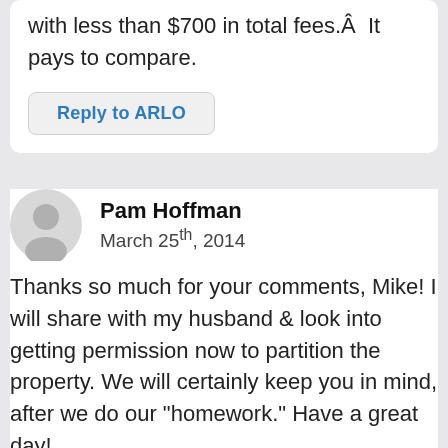with less than $700 in total fees.Â  It pays to compare.
Reply to ARLO
Pam Hoffman
March 25th, 2014
Thanks so much for your comments, Mike! I will share with my husband & look into getting permission now to partition the property. We will certainly keep you in mind, after we do our "homework." Have a great day!